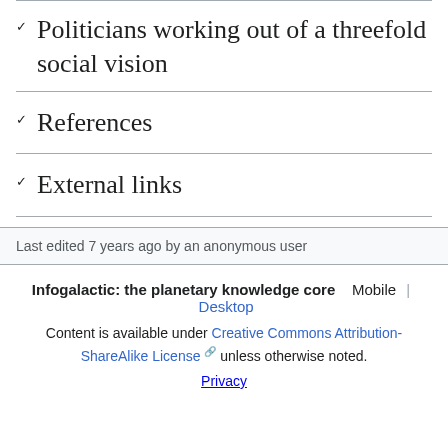Politicians working out of a threefold social vision
References
External links
Last edited 7 years ago by an anonymous user
Infogalactic: the planetary knowledge core   Mobile  |  Desktop
Content is available under Creative Commons Attribution-ShareAlike License unless otherwise noted.
Privacy